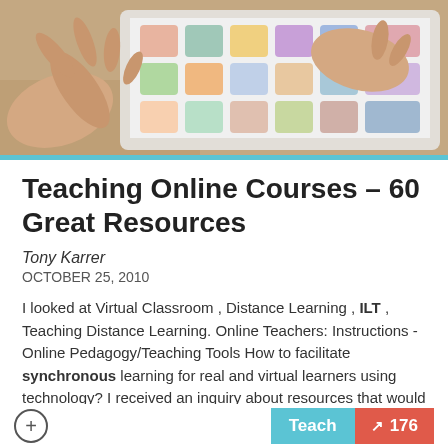[Figure (photo): Hands touching a tablet screen with colorful app icons visible, photographed from above on a wooden surface]
Teaching Online Courses – 60 Great Resources
Tony Karrer
OCTOBER 25, 2010
I looked at Virtual Classroom , Distance Learning , ILT , Teaching Distance Learning. Online Teachers: Instructions - Online Pedagogy/Teaching Tools How to facilitate synchronous learning for real and virtual learners using technology? I received an inquiry about resources that would help instructors who are about to move into teaching online courses. It made me immediately think back to my first experience with an online session.